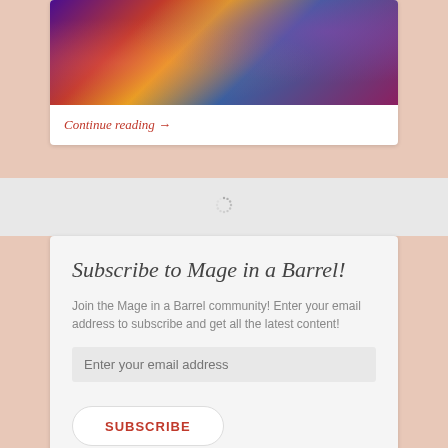[Figure (photo): Colorful psychedelic/artistic image of a Japanese shrine or temple with red torii gate structure, vibrant purple, red, orange and blue color palette]
Continue reading →
[Figure (other): Loading spinner icon — small circular dotted spinner in gray]
Subscribe to Mage in a Barrel!
Join the Mage in a Barrel community! Enter your email address to subscribe and get all the latest content!
Enter your email address
SUBSCRIBE
Join 1,487 other followers